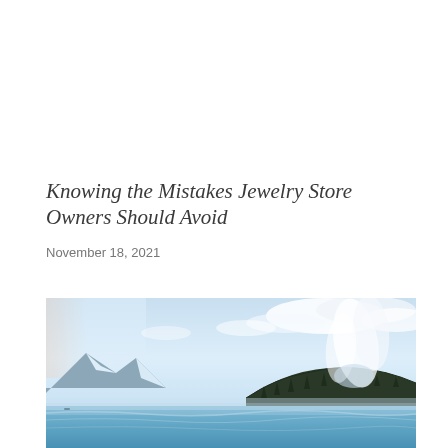Knowing the Mistakes Jewelry Store Owners Should Avoid
November 18, 2021
[Figure (photo): Scenic landscape photo of a misty lake with snow-capped mountains and dark forested hills under a light blue sky with clouds. A large plume of steam or mist rises from behind the hills on the right side. The calm water reflects the sky in shades of blue and teal.]